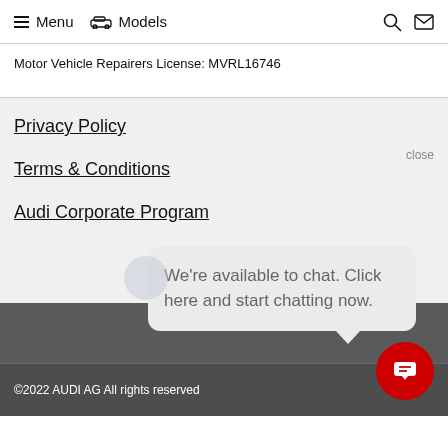Menu   Models
Motor Vehicle Repairers License: MVRL16746
Privacy Policy
Terms & Conditions
Audi Corporate Program
close
We're available to chat. Click here and start chatting now.
©2022 AUDI AG All rights reserved